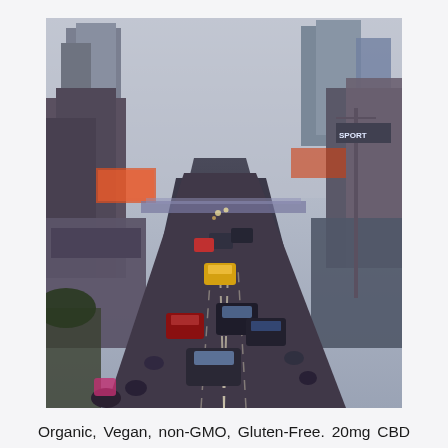[Figure (photo): Aerial/elevated view of a busy urban street in Southeast Asia (likely Bangkok, Thailand) showing heavy traffic congestion with cars, motorcycles, and various vehicles on a wide multi-lane road. City buildings, billboards, and shop signs line both sides. Taken at dusk/evening.]
Organic, Vegan, non-GMO, Gluten-Free. 20mg CBD per bar. INGREDIENTS Organic Almonds Organic Dates Organic Pumpkin Seeds Organic Cashews Organic Tapioca Syrup Organic Cane Sugar Organic Sunflower Seed Butter Organic Best White Label Products for Sale